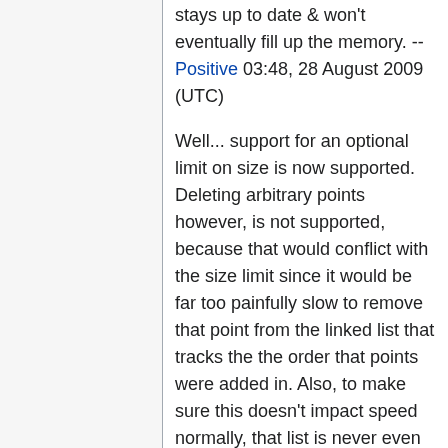stays up to date & won't eventually fill up the memory. --Positive 03:48, 28 August 2009 (UTC)
Well... support for an optional limit on size is now supported. Deleting arbitrary points however, is not supported, because that would conflict with the size limit since it would be far too painfully slow to remove that point from the linked list that tracks the the order that points were added in. Also, to make sure this doesn't impact speed normally, that list is never even created if no limit was specified.